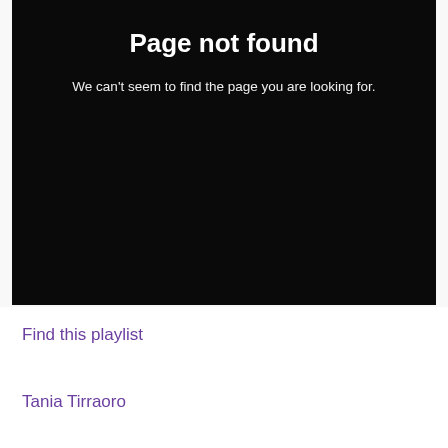Page not found
We can't seem to find the page you are looking for.
Find this playlist
Tania Tirraoro